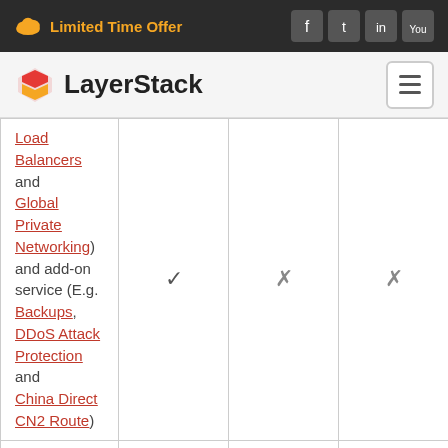Limited Time Offer
[Figure (logo): LayerStack logo with stylized S icon]
| Feature | Plan A | Plan B | Plan C |
| --- | --- | --- | --- |
| Load Balancers and Global Private Networking and add-on service (E.g. Backups, DDoS Attack Protection and China Direct CN2 Route) | ✓ | ✗ | ✗ |
| Create, |  |  |  |